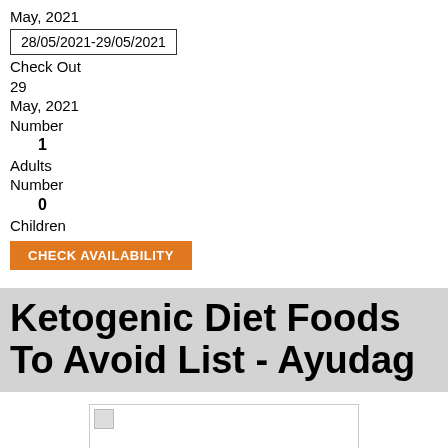May, 2021
28/05/2021-29/05/2021
Check Out
29
May, 2021
Number
1
Adults
Number
0
Children
CHECK AVAILABILITY
Ketogenic Diet Foods To Avoid List - Ayudag
[Figure (photo): Placeholder image (broken/not loaded) for ketogenic diet foods article]